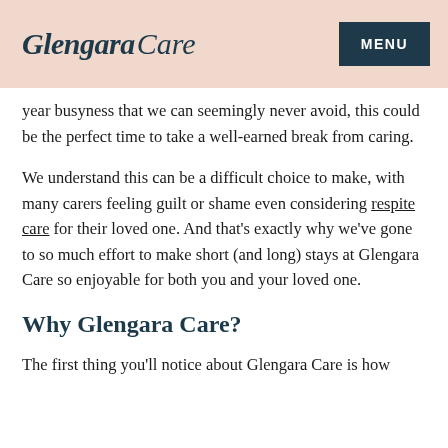Glengara Care — MENU
year busyness that we can seemingly never avoid, this could be the perfect time to take a well-earned break from caring.
We understand this can be a difficult choice to make, with many carers feeling guilt or shame even considering respite care for their loved one. And that's exactly why we've gone to so much effort to make short (and long) stays at Glengara Care so enjoyable for both you and your loved one.
Why Glengara Care?
The first thing you'll notice about Glengara Care is how